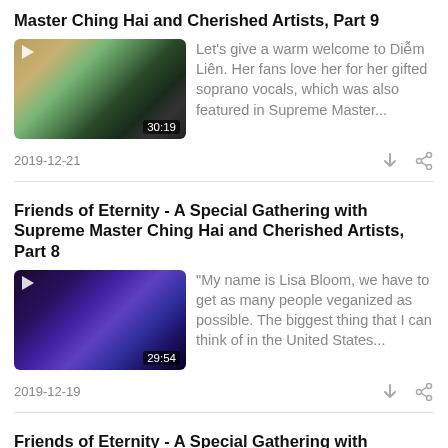Master Ching Hai and Cherished Artists, Part 9
[Figure (screenshot): Video thumbnail showing a stage performance with colorful lights and a person on stage, duration 30:19]
Let's give a warm welcome to Diễm Liên. Her fans love her for her gifted soprano vocals, which was also featured in Supreme Master...
2019-12-21
Friends of Eternity - A Special Gathering with Supreme Master Ching Hai and Cherished Artists, Part 8
[Figure (screenshot): Video thumbnail showing a person playing keyboard on a dark stage with purple lighting, duration 29:54]
“My name is Lisa Bloom, we have to get as many people veganized as possible. The biggest thing that I can think of in the United States...
2019-12-19
Friends of Eternity - A Special Gathering with Supreme Master Ching Hai and Cherished Artists, Part 7
"My name is Giorgia Fumanti. And